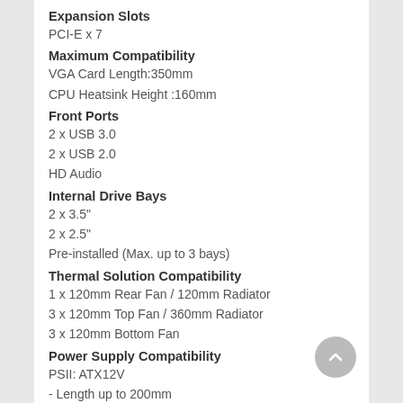Expansion Slots
PCI-E x 7
Maximum Compatibility
VGA Card Length:350mm
CPU Heatsink Height :160mm
Front Ports
2 x USB 3.0
2 x USB 2.0
HD Audio
Internal Drive Bays
2 x 3.5"
2 x 2.5"
Pre-installed (Max. up to 3 bays)
Thermal Solution Compatibility
1 x 120mm Rear Fan / 120mm Radiator
3 x 120mm Top Fan / 360mm Radiator
3 x 120mm Bottom Fan
Power Supply Compatibility
PSII: ATX12V
- Length up to 200mm
Item Dimension (L inchxW inchxH inch)
20 x 9 x 19